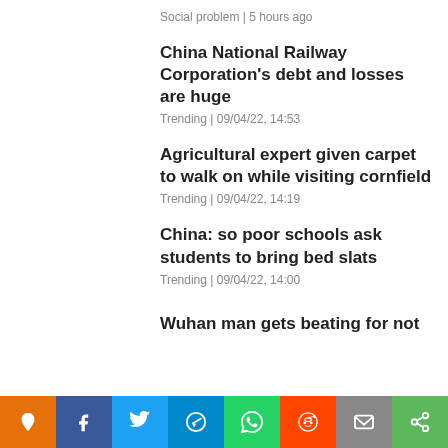Social problem | 5 hours ago
China National Railway Corporation's debt and losses are huge
Trending | 09/04/22, 14:53
Agricultural expert given carpet to walk on while visiting cornfield
Trending | 09/04/22, 14:19
China: so poor schools ask students to bring bed slats
Trending | 09/04/22, 14:00
Wuhan man gets beating for not
[Figure (infographic): Social sharing buttons bar at bottom: orange pin/location, blue Facebook f, sky-blue Twitter bird, blue Telegram arrow, green WhatsApp phone, orange-red Reddit alien, grey email envelope, green share icon]